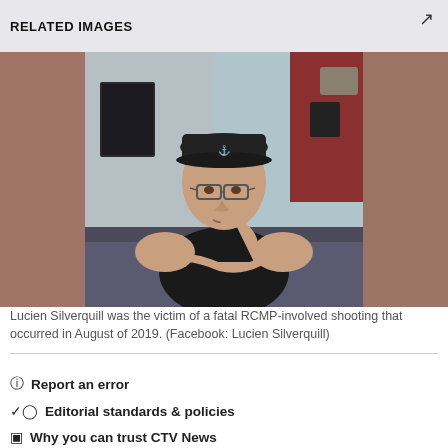RELATED IMAGES
[Figure (photo): A man wearing a black tank top, black cap, and glasses sitting on a bed with his hand on his chin, in an indoor setting with posters and decorations on the wall behind him. The photo appears to be a Facebook photo of Lucien Silverquill.]
Lucien Silverquill was the victim of a fatal RCMP-involved shooting that occurred in August of 2019. (Facebook: Lucien Silverquill)
Report an error
Editorial standards & policies
Why you can trust CTV News